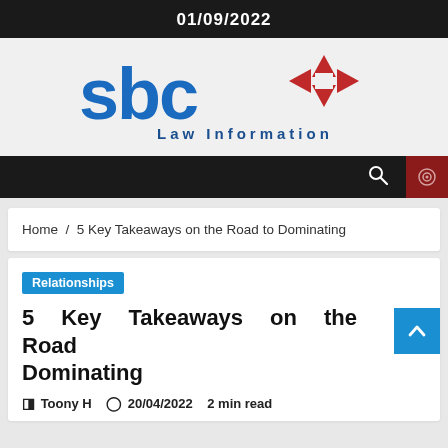01/09/2022
[Figure (logo): SBC Law Information logo with blue stylized 'sbc' text and red compass/cross icon]
Home / 5 Key Takeaways on the Road to Dominating
Relationships
5 Key Takeaways on the Road to Dominating
Toony H   20/04/2022   2 min read